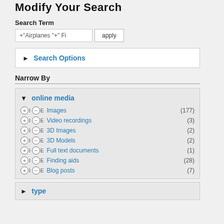Modify Your Search
Search Term
+"Airplanes "+" Fi
Search Options
Narrow By
online media
Images (177)
Video recordings (3)
3D Images (2)
3D Models (2)
Full text documents (1)
Finding aids (28)
Blog posts (7)
type